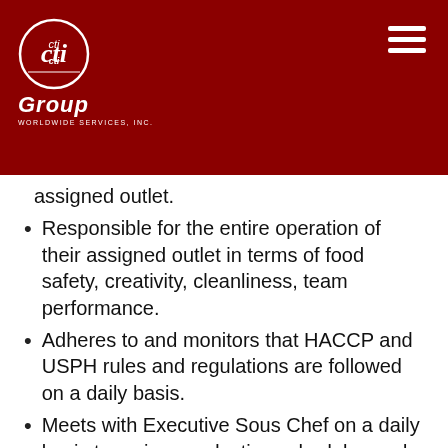CTi Group Worldwide Services, Inc. — Header with logo and navigation
assigned outlet.
Responsible for the entire operation of their assigned outlet in terms of food safety, creativity, cleanliness, team performance.
Adheres to and monitors that HACCP and USPH rules and regulations are followed on a daily basis.
Meets with Executive Sous Chef on a daily basis to review production schedules and internal requisitions for their outlet.
Monitors portion control and conducts spot checks.